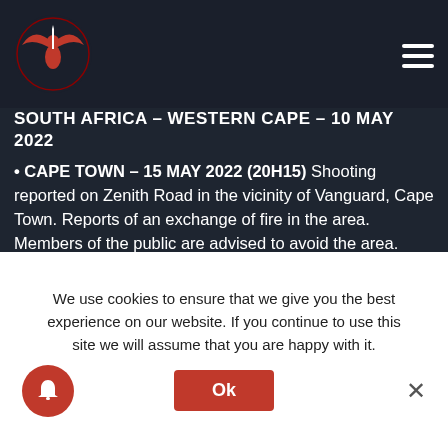SOUTH AFRICA – WESTERN CAPE – 10 MAY 2022
• CAPE TOWN – 15 MAY 2022 (20H15) Shooting reported on Zenith Road in the vicinity of Vanguard, Cape Town. Reports of an exchange of fire in the area. Members of the public are advised to avoid the area. Authorities have been dispatched to the area.
• CAPE TOWN – 15 MAY 2022 (20H35) Shooting reported on Harmonica Street in the vicinity of Harmony Primary School in Retreat, Cape Town. Reports indicate that a gang-related shooting is underway in the area. Members of the public are advised to avoid the area. Police have been dispatched to the scene.
We use cookies to ensure that we give you the best experience on our website. If you continue to use this site we will assume that you are happy with it.